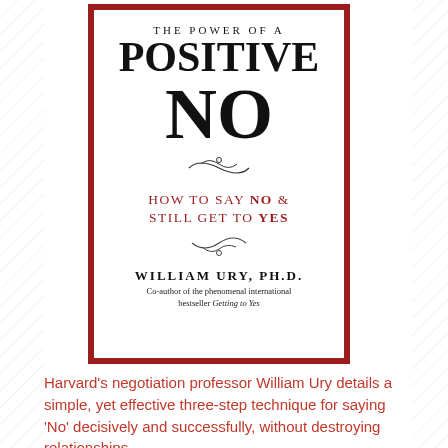[Figure (illustration): Book cover of 'The Power of a Positive No' by William Ury, Ph.D. White cover with red border, black serif title text, subtitle 'How to Say No & Still Get to Yes' in dark red uppercase, decorative ornamental flourishes, author name and byline.]
Harvard's negotiation professor William Ury details a simple, yet effective three-step technique for saying 'No' decisively and successfully, without destroying relationships.